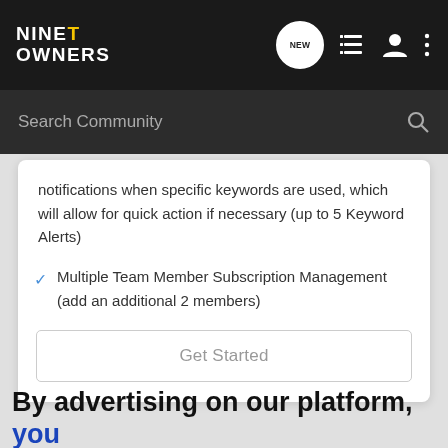NINET OWNERS
notifications when specific keywords are used, which will allow for quick action if necessary (up to 5 Keyword Alerts)
Multiple Team Member Subscription Management (add an additional 2 members)
Get Started
By advertising on our platform,